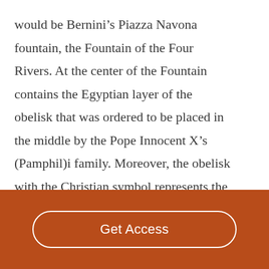would be Bernini’s Piazza Navona fountain, the Fountain of the Four Rivers. At the center of the Fountain contains the Egyptian layer of the obelisk that was ordered to be placed in the middle by the Pope Innocent X’s (Pamphil)i family. Moreover, the obelisk with the Christian symbol represents the church’s power and authority. The Fountain of the Four Rivers is dedicated to the four rivers the Danube, Nile,
[Figure (other): Orange/brown footer bar with a 'Get Access' button outlined in white with rounded corners]